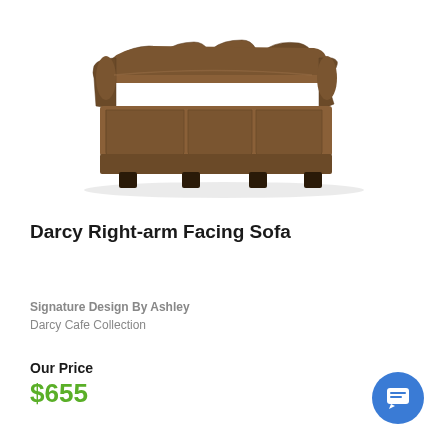[Figure (photo): Brown upholstered three-seat sofa (Darcy Right-arm Facing Sofa) shown in a product photo on white background, angled slightly to show the right arm and seat cushions]
Darcy Right-arm Facing Sofa
Signature Design By Ashley
Darcy Cafe Collection
Our Price
$655